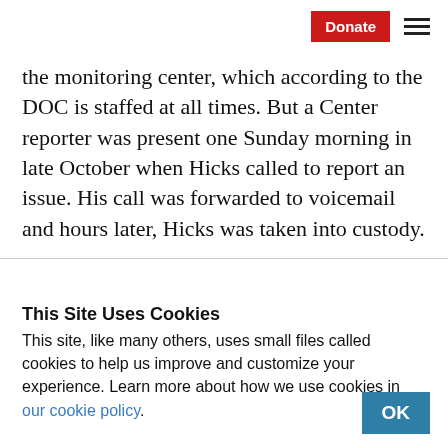Donate [hamburger menu]
the monitoring center, which according to the DOC is staffed at all times. But a Center reporter was present one Sunday morning in late October when Hicks called to report an issue. His call was forwarded to voicemail and hours later, Hicks was taken into custody.
This Site Uses Cookies
This site, like many others, uses small files called cookies to help us improve and customize your experience. Learn more about how we use cookies in our cookie policy.